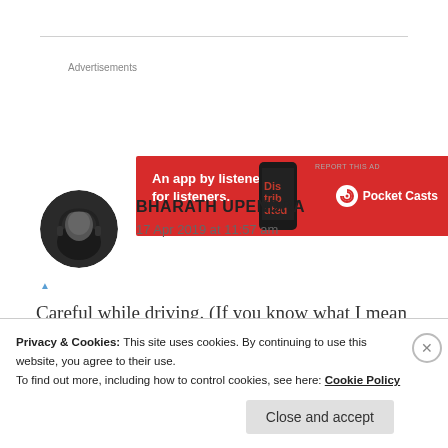[Figure (screenshot): Red advertisement banner for Pocket Casts app with text 'An app by listeners, for listeners.' and phone image]
Advertisements
REPORT THIS AD
[Figure (photo): Circular avatar photo of Bharath Upendra in black and white, wearing headphones]
BHARATH UPENDRA
17 Apr 2019 at 11:57 am
Careful while driving. (If you know what I mean😜 )
Privacy & Cookies: This site uses cookies. By continuing to use this website, you agree to their use.
To find out more, including how to control cookies, see here: Cookie Policy
Close and accept